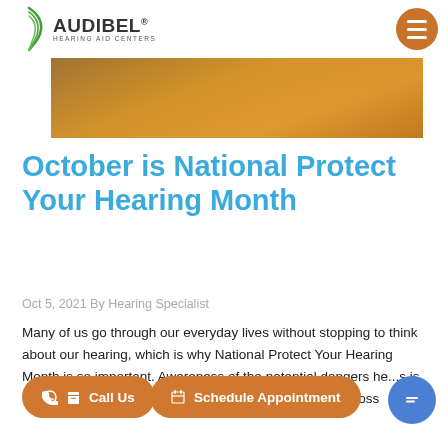Audibel Hearing Aid Centers
[Figure (photo): Partial hero image showing orange/warm-toned background, appears to be a person scene]
October is National Protect Your Hearing Month
Oct 5, 2021 By Hearing Specialist
Many of us go through our everyday lives without stopping to think about our hearing, which is why National Protect Your Hearing Month is so important. Awareness of the potential dangers he...s is ...ifects a number of people, and noise-induced hearing loss